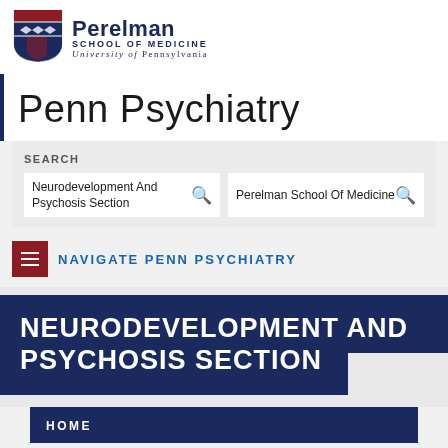[Figure (logo): Perelman School of Medicine, University of Pennsylvania shield logo with text]
Penn Psychiatry
SEARCH
Neurodevelopment And Psychosis Section
Perelman School Of Medicine
NAVIGATE PENN PSYCHIATRY
NEURODEVELOPMENT AND PSYCHOSIS SECTION
HOME